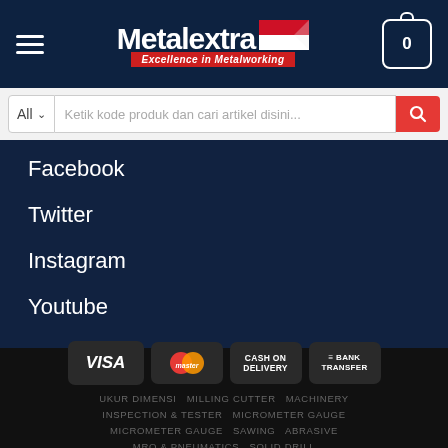[Figure (logo): Metalextra logo with tagline 'Excellence in Metalworking' and Indonesian flag]
Ketik kode produk dan cari artikel disini...
Facebook
Twitter
Instagram
Youtube
[Figure (infographic): Payment method badges: VISA, MasterCard, Cash on Delivery, Bank Transfer]
UKUR DIMENSI   MILLING CUTTER   MACHINERY
INSPECTION & TESTER   MICROMETER GAUGE
MICROMETER GAUGE   SAWING   ABRASIVE
MRO & PNEUMATICS   SOLID DRILL